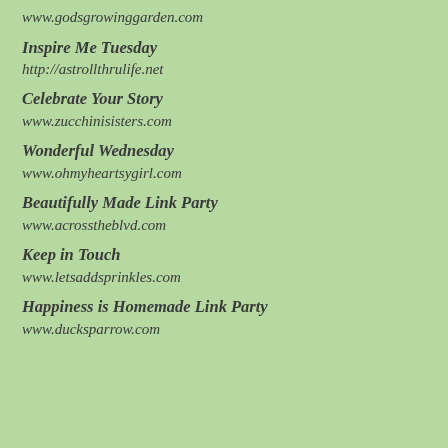www.godsgrowinggarden.com
Inspire Me Tuesday
http://astrollthrulife.net
Celebrate Your Story
www.zucchinisisters.com
Wonderful Wednesday
www.ohmyheartsygirl.com
Beautifully Made Link Party
www.acrosstheblvd.com
Keep in Touch
www.letsaddsprinkles.com
Happiness is Homemade Link Party
www.ducksparrow.com